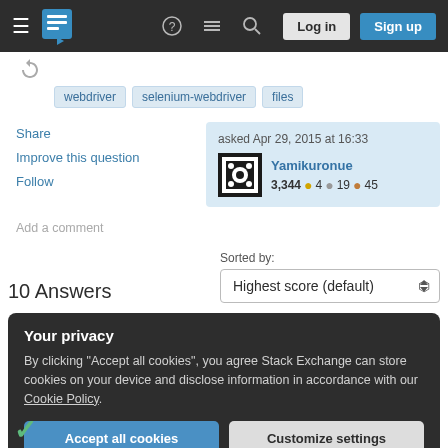Stack Exchange navigation bar with Log in and Sign up buttons
webdriver  selenium-webdriver  files
Share
Improve this question
Follow
asked Apr 29, 2015 at 16:33
Yamikuronue
3,344 ●4 ●19 ●45
Add a comment
10 Answers
Sorted by:
Highest score (default)
Your privacy
By clicking "Accept all cookies", you agree Stack Exchange can store cookies on your device and disclose information in accordance with our Cookie Policy.
Accept all cookies  Customize settings